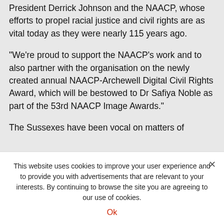President Derrick Johnson and the NAACP, whose efforts to propel racial justice and civil rights are as vital today as they were nearly 115 years ago.
"We're proud to support the NAACP's work and to also partner with the organisation on the newly created annual NAACP-Archewell Digital Civil Rights Award, which will be bestowed to Dr Safiya Noble as part of the 53rd NAACP Image Awards."
The Sussexes have been vocal on matters of
This website uses cookies to improve your user experience and to provide you with advertisements that are relevant to your interests. By continuing to browse the site you are agreeing to our use of cookies.
Ok